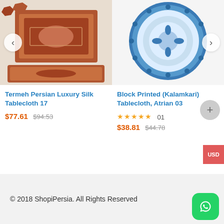[Figure (photo): Termeh Persian Luxury Silk Tablecloth 17 product image showing decorative rug/tablecloth set]
[Figure (photo): Block Printed (Kalamkari) Tablecloth, Atrian 03 product image showing round blue printed tablecloth]
Termeh Persian Luxury Silk Tablecloth 17
$77.61 $94.53
Block Printed (Kalamkari) Tablecloth, Atrian 03
★★★★★ 01
$38.81 $44.78
© 2018 ShopiPersia. All Rights Reserved